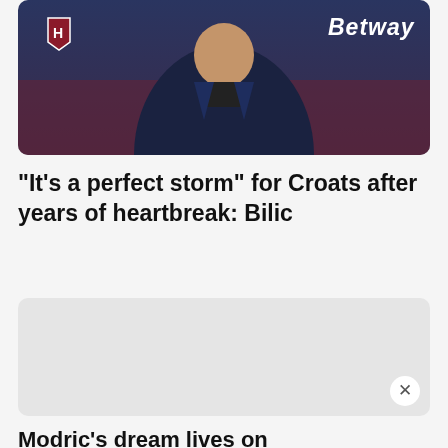[Figure (photo): Photo of a man in a dark blazer and black shirt, with West Ham United branding and Betway sponsor logo visible in the background]
"It's a perfect storm" for Croats after years of heartbreak: Bilic
[Figure (other): Advertisement placeholder with gray background and close (X) button]
Modric's dream lives on